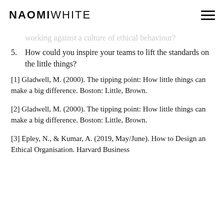NAOMIWHITE
working against a culture of ethical behaviour?
5. How could you inspire your teams to lift the standards on the little things?
[1] Gladwell, M. (2000). The tipping point: How little things can make a big difference. Boston: Little, Brown.
[2] Gladwell, M. (2000). The tipping point: How little things can make a big difference. Boston: Little, Brown.
[3] Epley, N., & Kumar, A. (2019, May/June). How to Design an Ethical Organisation. Harvard Business